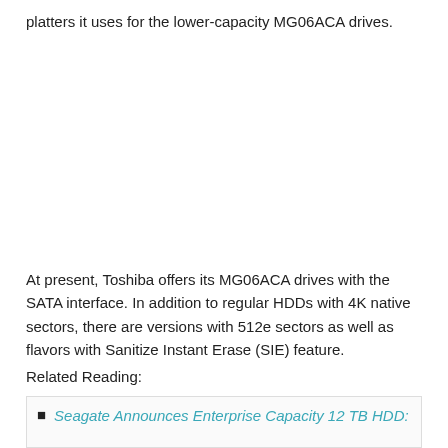platters it uses for the lower-capacity MG06ACA drives.
At present, Toshiba offers its MG06ACA drives with the SATA interface. In addition to regular HDDs with 4K native sectors, there are versions with 512e sectors as well as flavors with Sanitize Instant Erase (SIE) feature.
Related Reading:
Seagate Announces Enterprise Capacity 12 TB HDD: